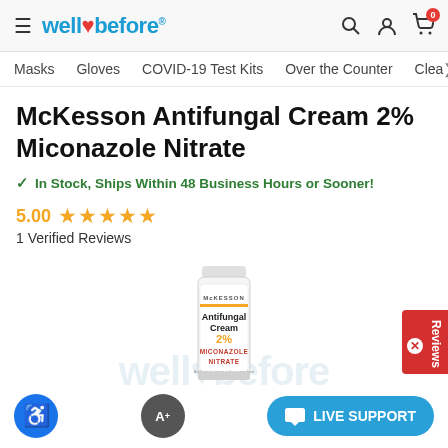well before
Masks   Gloves   COVID-19 Test Kits   Over the Counter   Clean
McKesson Antifungal Cream 2% Miconazole Nitrate
✓ In Stock, Ships Within 48 Business Hours or Sooner!
5.00 ★★★★★
1 Verified Reviews
[Figure (photo): McKesson Antifungal Cream 2% Miconazole Nitrate tube product image]